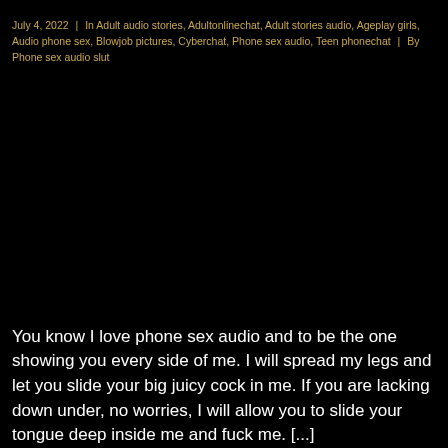July 4, 2022 | In Adult audio stories, Adultonlinechat, Adult stories audio, Ageplay girls, Audio phone sex, Blowjob pictures, Cyberchat, Phone sex audio, Teen phonechat | By Phone sex audio slut
You know I love phone sex audio and to be the one showing you every side of me. I will spread my legs and let you slide your big juicy cock in me. If you are lacking down under, no worries, I will allow you to slide your tongue deep inside me and fuck me. [...]